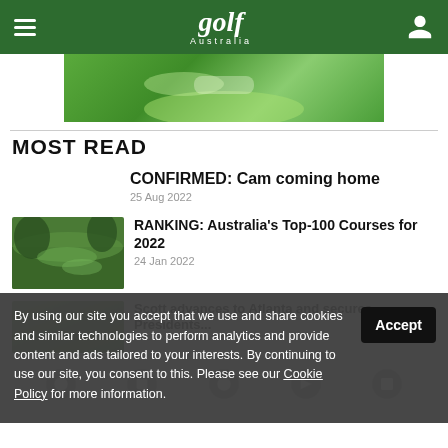Golf Australia - navigation header
[Figure (photo): Golf course aerial banner image showing green fairway with bunker]
MOST READ
CONFIRMED: Cam coming home
25 Aug 2022
[Figure (photo): Aerial view of golf course with tree-lined fairways]
RANKING: Australia's Top-100 Courses for 2022
24 Jan 2022
Scott advances to Atlanta and secures Presidents...
By using our site you accept that we use and share cookies and similar technologies to perform analytics and provide content and ads tailored to your interests. By continuing to use our site, you consent to this. Please see our Cookie Policy for more information.